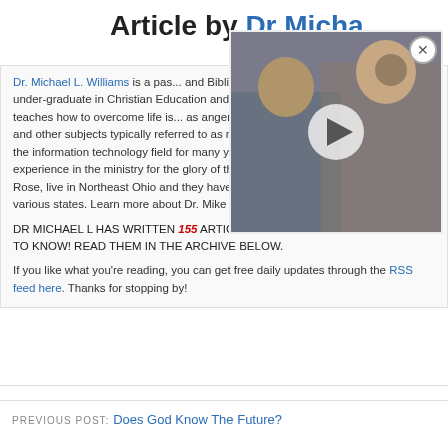Article by Dr Micha...
[Figure (photo): Video thumbnail showing people in a counseling/group discussion session, with a play button overlay]
Dr. Michael L. Williams is a pastor and Biblical counselor who has... Dr. Mike holds under-graduate in Christian Education and form... a Christ-centered counselor and teaches how to overcome life is... as anger management, marriage, addictions, and other subjects typically referred to as mental illnesses. Dr. Mike has worked in the information technology field for many years and he uses his talents and experience in the ministry for the glory of the Lord. Dr. Mike and his wife, Pamela Rose, live in Northeast Ohio and they have children and grandchildren that live in various states. Learn more about Dr. Mike at Christianity Every Day.
DR MICHAEL L HAS WRITTEN 155 ARTICLES ON WHAT CHRISTIANS WANT TO KNOW! READ THEM IN THE ARCHIVE BELOW.
If you like what you're reading, you can get free daily updates through the RSS feed here. Thanks for stopping by!
PREVIOUS POST: Does God Know The Future?